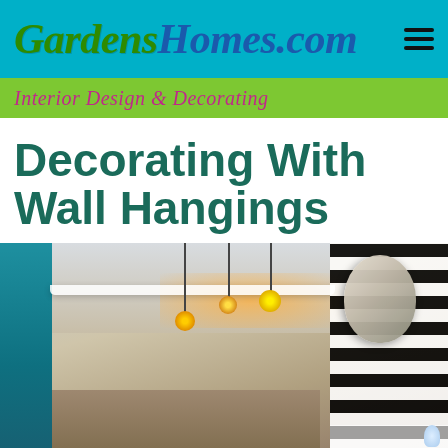GardensHomes.com
Interior Design & Decorating
Decorating With Wall Hangings
[Figure (photo): Interior bedroom photo showing pendant lights hanging from ceiling, decorative wall art on striped black-and-white wall on right, and teal artwork on left wall]